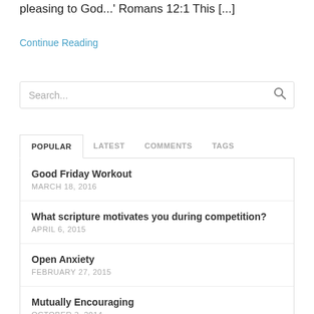pleasing to God...' Romans 12:1 This [...]
Continue Reading
Search...
POPULAR | LATEST | COMMENTS | TAGS
Good Friday Workout
MARCH 18, 2016
What scripture motivates you during competition?
APRIL 6, 2015
Open Anxiety
FEBRUARY 27, 2015
Mutually Encouraging
OCTOBER 3, 2014